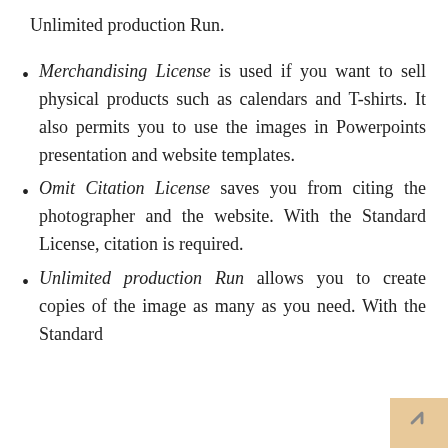Unlimited production Run.
Merchandising License is used if you want to sell physical products such as calendars and T-shirts. It also permits you to use the images in Powerpoints presentation and website templates.
Omit Citation License saves you from citing the photographer and the website. With the Standard License, citation is required.
Unlimited production Run allows you to create copies of the image as many as you need. With the Standard